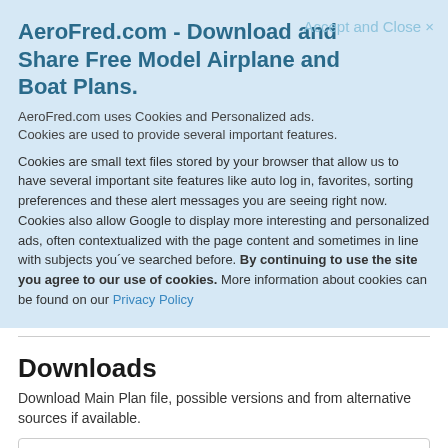AeroFred.com - Download and Share Free Model Airplane and Boat Plans.
Accept and Close ×
AeroFred.com uses Cookies and Personalized ads.
Cookies are used to provide several important features.
Cookies are small text files stored by your browser that allow us to have several important site features like auto log in, favorites, sorting preferences and these alert messages you are seeing right now. Cookies also allow Google to display more interesting and personalized ads, often contextualized with the page content and sometimes in line with subjects you´ve searched before. By continuing to use the site you agree to our use of cookies. More information about cookies can be found on our Privacy Policy
Downloads
Download Main Plan file, possible versions and from alternative sources if available.
Download Plan  Add to Favorites  [search icon]
Download Without Registering